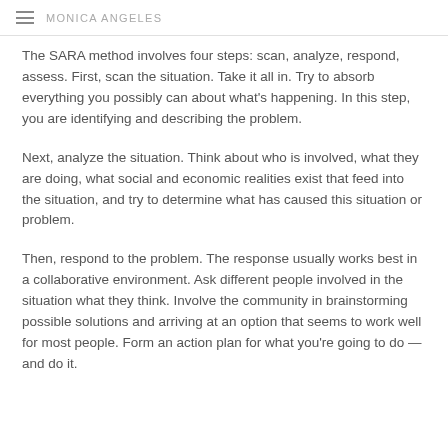MONICA ANGELES
The SARA method involves four steps: scan, analyze, respond, assess. First, scan the situation. Take it all in. Try to absorb everything you possibly can about what's happening. In this step, you are identifying and describing the problem.
Next, analyze the situation. Think about who is involved, what they are doing, what social and economic realities exist that feed into the situation, and try to determine what has caused this situation or problem.
Then, respond to the problem. The response usually works best in a collaborative environment. Ask different people involved in the situation what they think. Involve the community in brainstorming possible solutions and arriving at an option that seems to work well for most people. Form an action plan for what you're going to do — and do it.